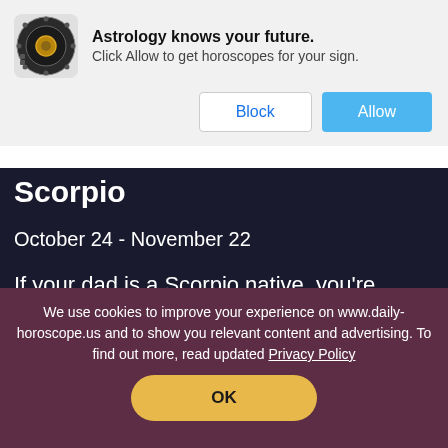[Figure (screenshot): Browser notification popup with astrology zodiac icon, title 'Astrology knows your future.', subtitle 'Click Allow to get horoscopes for your sign.', and two buttons: 'Block' and 'Allow'.]
Scorpio
October 24 - November 22
If your dad is a Scorpio native, you're lucky. Dads born under this sign are the chillest. He's probably so quiet and happy to be by himself that you sometimes don't even know when he is actually in the house.
We use cookies to improve your experience on www.daily-horoscope.us and to show you relevant content and advertising. To find out more, read updated Privacy Policy